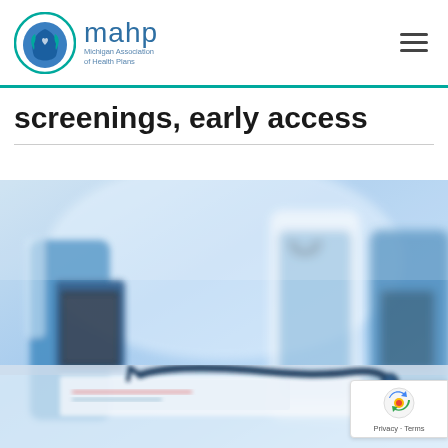mahp — Michigan Association of Health Plans navigation header
screenings, early access
[Figure (photo): Blurred photo of healthcare professionals in blue scrubs/white coats holding clipboards/tablets, with a stethoscope in the foreground on a white surface]
[Figure (other): reCAPTCHA badge overlay with Google reCAPTCHA icon and Privacy - Terms text]